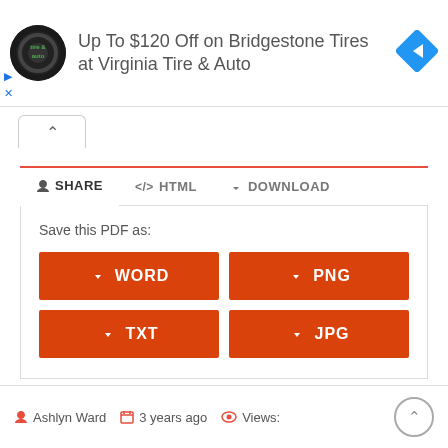[Figure (infographic): Advertisement banner: Virginia Tire & Auto logo (circular black badge), headline text 'Up To $120 Off on Bridgestone Tires at Virginia Tire & Auto', blue diamond navigation arrow icon, small play and close controls.]
Save this PDF as:
WORD
PNG
TXT
JPG
Ashlyn Ward   3 years ago   Views: